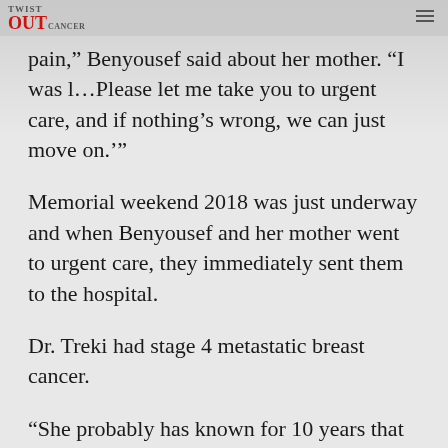TWIST OUT CANCER
pain,” Benyousef said about her mother. “I was l… Please let me take you to urgent care, and if nothing’s wrong, we can just move on.’”
Memorial weekend 2018 was just underway and when Benyousef and her mother went to urgent care, they immediately sent them to the hospital.
Dr. Treki had stage 4 metastatic breast cancer.
“She probably has known for 10 years that something was not right,” Benyousef said. “But because of her fear and trauma from my father’s experience, she did not want to go to the doctor.”